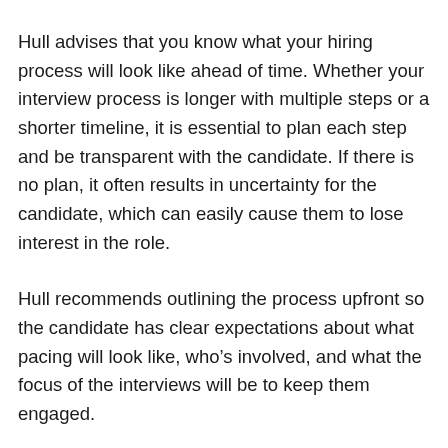Hull advises that you know what your hiring process will look like ahead of time. Whether your interview process is longer with multiple steps or a shorter timeline, it is essential to plan each step and be transparent with the candidate. If there is no plan, it often results in uncertainty for the candidate, which can easily cause them to lose interest in the role.
Hull recommends outlining the process upfront so the candidate has clear expectations about what pacing will look like, who’s involved, and what the focus of the interviews will be to keep them engaged.
Maintain an Open